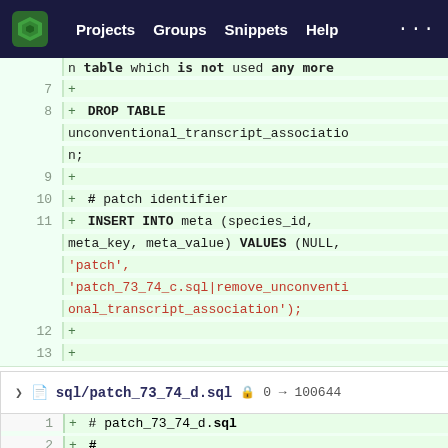Projects  Groups  Snippets  Help
[Figure (screenshot): Git diff view showing SQL patch file lines 7-13 with DROP TABLE and INSERT INTO statements on green diff background]
sql/patch_73_74_d.sql  0 → 100644
[Figure (screenshot): Git diff view showing beginning of patch_73_74_d.sql file, lines 1-3: # patch_73_74_d.sql, #, # title: Qtl removal]